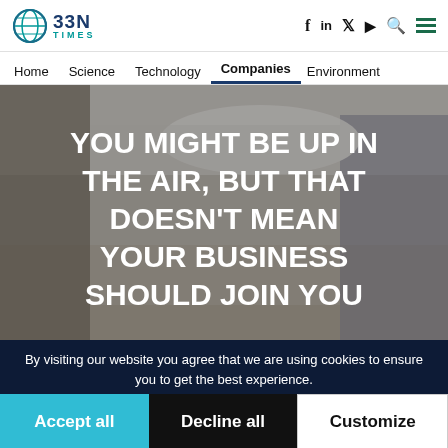BBN TIMES — Header with logo, social icons (f, in, twitter, YouTube, search), hamburger menu
Navigation: Home | Science | Technology | Companies (active) | Environment
[Figure (photo): Modern office interior with glass walls and open ceiling; overlaid with large white bold text reading: YOU MIGHT BE UP IN THE AIR, BUT THAT DOESN'T MEAN YOUR BUSINESS SHOULD JOIN YOU]
By visiting our website you agree that we are using cookies to ensure you to get the best experience.
Accept all | Decline all | Customize